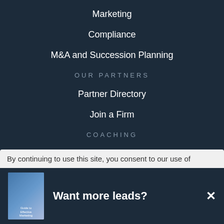Marketing
Compliance
M&A and Succession Planning
OUR PARTNERS
Partner Directory
Join a Firm
COACHING
Executive Business Coaching
Carson Coaching Online
Specialty Coaching
By continuing to use this site, you consent to our use of
Want more leads?